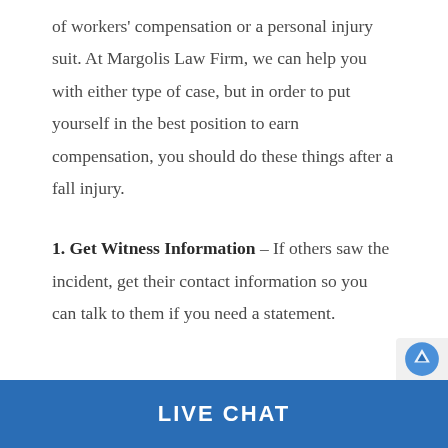of workers' compensation or a personal injury suit. At Margolis Law Firm, we can help you with either type of case, but in order to put yourself in the best position to earn compensation, you should do these things after a fall injury.
1. Get Witness Information – If others saw the incident, get their contact information so you can talk to them if you need a statement.
LIVE CHAT